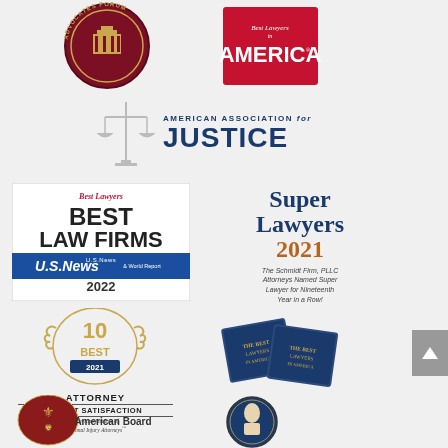[Figure (logo): Advocates Forum circular badge logo]
[Figure (logo): Best Lawyers in America red logo]
[Figure (logo): American Association for Justice logo with scales of justice]
[Figure (logo): Best Lawyers Best Law Firms U.S. News & World Report 2022 badge]
[Figure (logo): Super Lawyers 2021 - The Schmidt Firm, PLLC Attorneys Named Super Lawyer for Nineteenth Year in a Row!]
[Figure (logo): 10 Best 2021 Attorney Client Satisfaction - American Institute of Personal Injury Attorneys]
[Figure (logo): The Best Lawyers in America books]
[Figure (logo): American Board circular logo with heraldic crest]
[Figure (logo): Circular logo with figure portrait]
American Board